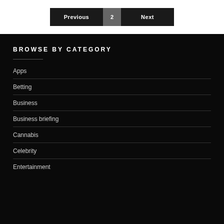Previous | 2 | Next
BROWSE BY CATEGORY
Apps
Betting
Business
Business briefing
Cannabis
Celebrity
Entertainment